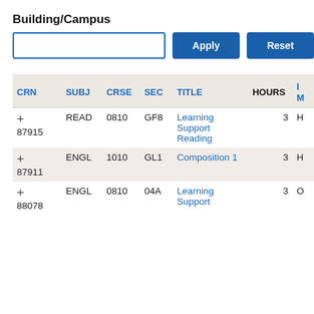Building/Campus
[Figure (screenshot): Filter input box with Apply and Reset buttons]
| CRN | SUBJ | CRSE | SEC | TITLE | HOURS | IM |
| --- | --- | --- | --- | --- | --- | --- |
| + 87915 | READ | 0810 | GF8 | Learning Support Reading | 3 | H |
| + 87911 | ENGL | 1010 | GL1 | Composition 1 | 3 | H |
| + 88078 | ENGL | 0810 | 04A | Learning Support | 3 | O |